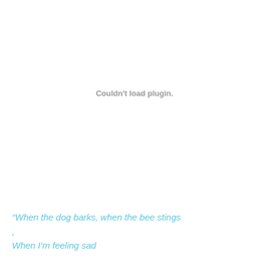Couldn't load plugin.
“When the dog barks, when the bee stings
,
When I’m feeling sad